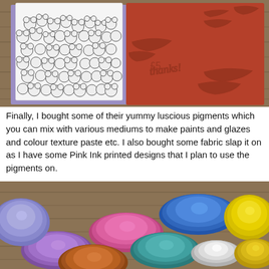[Figure (photo): Photo of a stamping/crafting scene: a card with black and white illustrated bears/animals on white and purple background next to a dark red rubber stamp sheet with script text designs, placed on a wooden surface.]
Finally, I bought some of their yummy luscious pigments which you can mix with various mediums to make paints and glazes and colour texture paste etc. I also bought some fabric slap it on as I have some Pink Ink printed designs that I plan to use the pigments on.
[Figure (photo): Photo of multiple small metallic pigment jars viewed from above, showing lids in various colors including purple, pink/rose, copper/bronze, teal, blue, white, yellow/gold, and a bright yellow, arranged on a wooden surface.]